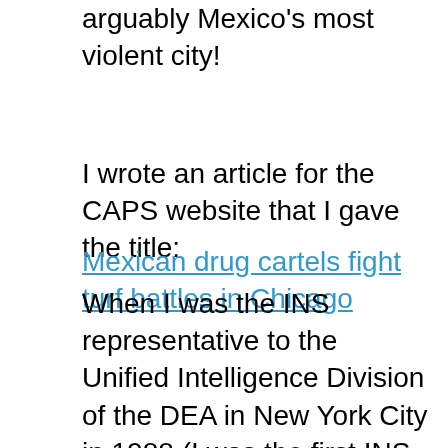arguably Mexico's most violent city!
I wrote an article for the CAPS website that I gave the title:
Mexican drug cartels fight turf battles in Chicago
When I was the INS representative to the Unified Intelligence Division of the DEA in New York City in 1988 (I was the first INS agent to be given that assignment), I decided to do an analysis of the arrest statistics to determine who was being arrested by the DEA in New York as well as across the United States.  It was eye-opening to discover that in New York City some 60% of those arrested by the DEA and the DEA Task Force were identified as being “Foreign born” while nationally some 30% of those arrested were so identified.